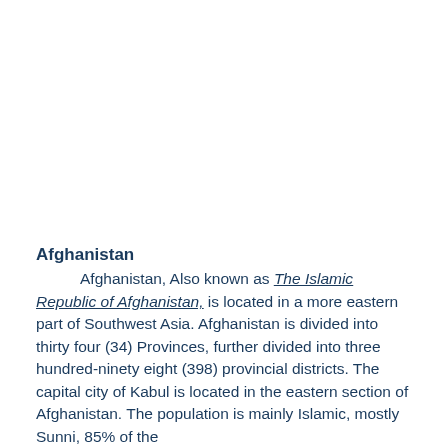Afghanistan
Afghanistan, Also known as The Islamic Republic of Afghanistan, is located in a more eastern part of Southwest Asia. Afghanistan is divided into thirty four (34) Provinces, further divided into three hundred-ninety eight (398) provincial districts. The capital city of Kabul is located in the eastern section of Afghanistan. The population is mainly Islamic, mostly Sunni, 85% of the